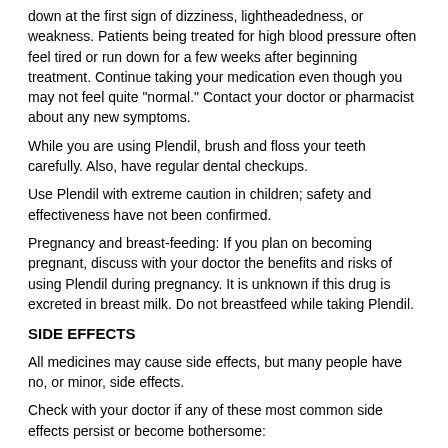down at the first sign of dizziness, lightheadedness, or weakness. Patients being treated for high blood pressure often feel tired or run down for a few weeks after beginning treatment. Continue taking your medication even though you may not feel quite "normal." Contact your doctor or pharmacist about any new symptoms.
While you are using Plendil, brush and floss your teeth carefully. Also, have regular dental checkups.
Use Plendil with extreme caution in children; safety and effectiveness have not been confirmed.
Pregnancy and breast-feeding: If you plan on becoming pregnant, discuss with your doctor the benefits and risks of using Plendil during pregnancy. It is unknown if this drug is excreted in breast milk. Do not breastfeed while taking Plendil.
SIDE EFFECTS
All medicines may cause side effects, but many people have no, or minor, side effects.
Check with your doctor if any of these most common side effects persist or become bothersome:
Diarrhea; dizziness; flushing; headache; mild swelling of gums; nausea; weakness.
Seek medical attention right away if any of these severe side effects occur: